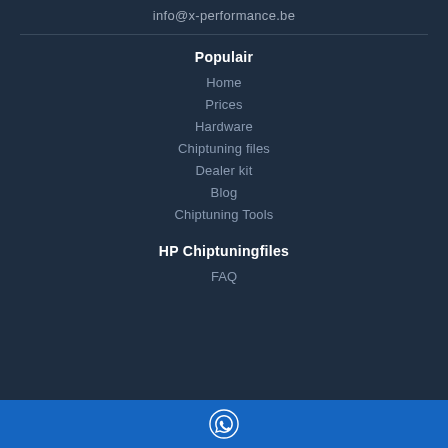info@x-performance.be
Populair
Home
Prices
Hardware
Chiptuning files
Dealer kit
Blog
Chiptuning Tools
HP Chiptuningfiles
FAQ
[Figure (logo): WhatsApp icon in white on blue bar at bottom of page]